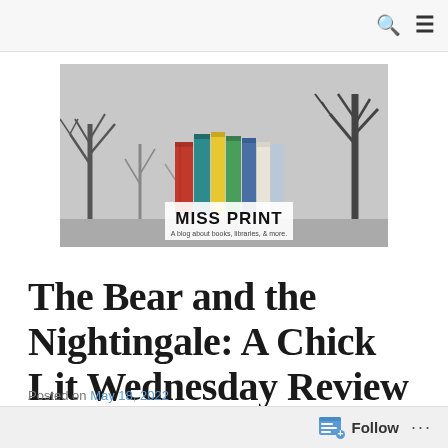Navigation bar with search and menu icons
[Figure (logo): Miss Print blog banner: colorful books against bare winter trees, text reads 'MISS PRINT - A blog about books, libraries, & more.']
The Bear and the Nightingale: A Chick Lit Wednesday Review
Posted on May 18, 2022
Follow ...